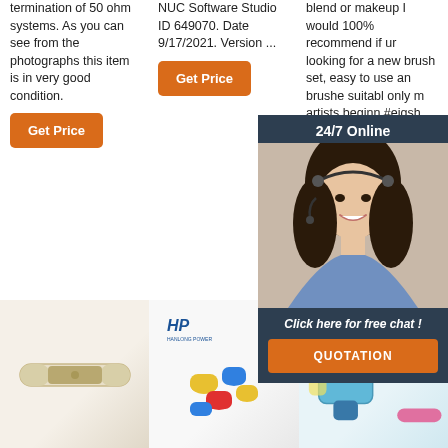termination of 50 ohm systems. As you can see from the photographs this item is in very good condition.
Get Price
NUC Software Studio ID 649070. Date 9/17/2021. Version ...
Get Price
blend or makeup I would 100% recommend if ur looking for a new brush set, easy to use an brushe suitabl only m artists beginn #eigsh #eigsh
Get
[Figure (photo): Customer service representative woman with headset, 24/7 Online chat overlay with QUOTATION button]
[Figure (photo): Heat shrink butt connector wire terminal product image]
[Figure (photo): Colorful small caps/connectors product image with HP logo]
[Figure (photo): Blue heat shrink wire connector terminal product image with TOP badge]